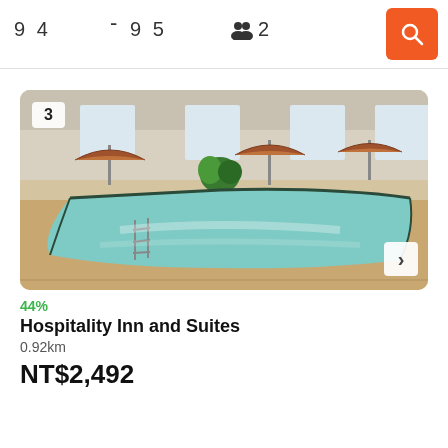9 4 — 9 5   👥 2
[Figure (photo): Indoor hotel swimming pool with turquoise water, sandstone-colored pool deck, and patio umbrellas in the background. A badge showing '3' is in the top left corner.]
44%
Hospitality Inn and Suites
0.92km
NT$2,492